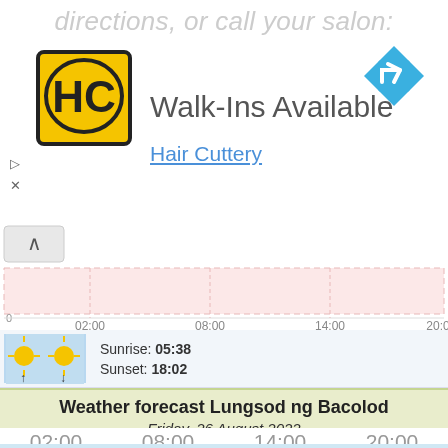directions, or call your salon:
[Figure (logo): Hair Cuttery HC logo - yellow square with HC in black]
Walk-Ins Available
Hair Cuttery
[Figure (other): Blue diamond navigation/directions icon]
[Figure (continuous-plot): Pink shaded chart strip with time axis 02:00, 08:00, 14:00, 20:00 and caret/collapse button]
[Figure (illustration): Sunrise/sunset icon showing two suns with up and down arrows on light blue background]
Sunrise: 05:38
Sunset: 18:02
[Figure (photo): Moon phase photo showing waning crescent moon on black background]
Moon phase: Waning crescent Moon rise: 03:45 Moonset: 16:46
Weather forecast Lungsod ng Bacolod
Friday, 26 August 2022
02:00  08:00  14:00  20:00